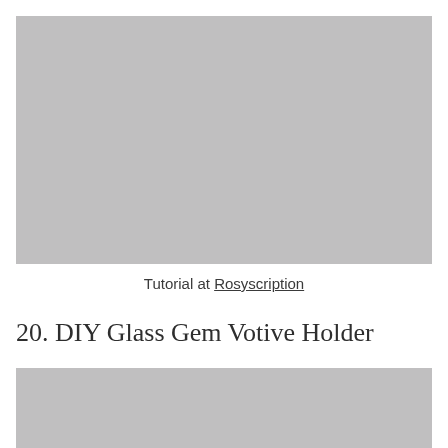[Figure (photo): Gray placeholder image at top of page]
Tutorial at Rosyscription
20. DIY Glass Gem Votive Holder
[Figure (photo): Gray placeholder image at bottom of page, partially visible]